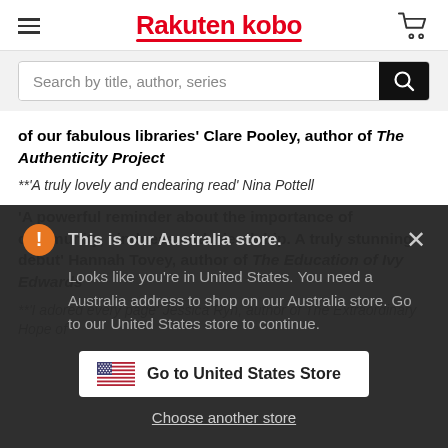Rakuten kobo
Search by title, author, series
of our fabulous libraries' Clare Pooley, author of The Authenticity Project
**'A truly lovely and endearing read' Nina Pottell
'A powerful reminder about the importance of community, kindness and friendship. A truly stunning debut' Hannah Tovey, author of The Education of Ivy Edwards
**'I adored every page' Jessica Ryn, author of The Extraordinary Hope of
This is our Australia store.
Looks like you're in United States. You need a Australia address to shop on our Australia store. Go to our United States store to continue.
Go to United States Store
Choose another store